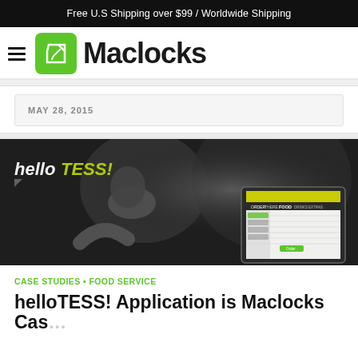Free U.S Shipping over $99 / Worldwide Shipping
[Figure (logo): Maclocks logo with green icon and hamburger menu]
MAY 28, 2015
[Figure (photo): Black and white photo of restaurant/food service environment showing a tablet kiosk with helloTESS! application and a worker in background. Green 'helloTESS!' branding overlay in top left.]
CASE STUDIES • FOOD SERVICE
helloTESS! Application is Maclocks Cas...